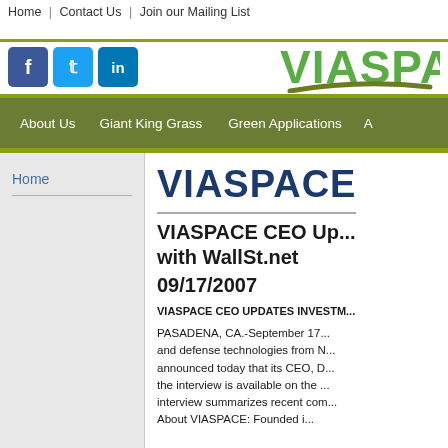Home | Contact Us | Join our Mailing List
[Figure (logo): VIASPACE logo with green text and green underline swoosh]
About Us  |  Giant King Grass  |  Green Applications  |  A
VIASPACE
VIASPACE CEO Up... with WallSt.net
09/17/2007
VIASPACE CEO UPDATES INVESTM...
PASADENA, CA.-September 17... and defense technologies from N... announced today that its CEO, D... the interview is available on the ... interview summarizes recent com... About VIASPACE: Founded i...
Home